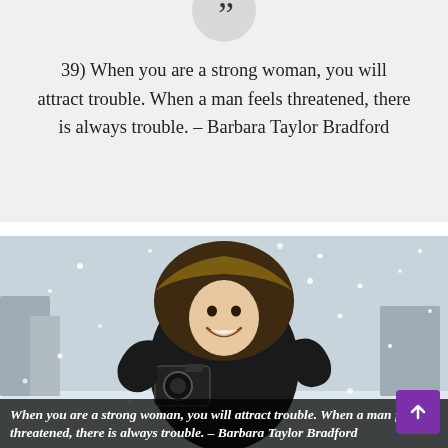39) When you are a strong woman, you will attract trouble. When a man feels threatened, there is always trouble. – Barbara Taylor Bradford
[Figure (photo): A smiling young woman wearing a black winter parka with fur-trimmed hood, holding a camera, standing outdoors in a heavy snowstorm with a snowy street scene behind her.]
When you are a strong woman, you will attract trouble. When a man feels threatened, there is always trouble. – Barbara Taylor Bradford